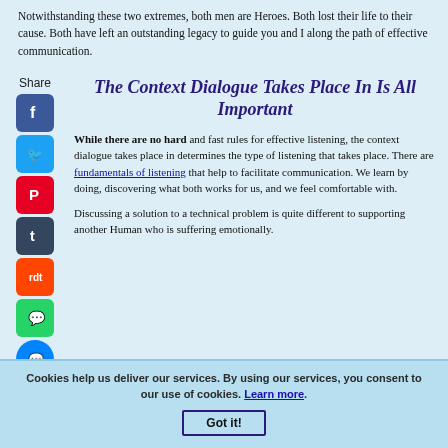Notwithstanding these two extremes, both men are Heroes. Both lost their life to their cause. Both have left an outstanding legacy to guide you and I along the path of effective communication.
The Context Dialogue Takes Place In Is All Important
While there are no hard and fast rules for effective listening, the context dialogue takes place in determines the type of listening that takes place. There are fundamentals of listening that help to facilitate communication. We learn by doing, discovering what both works for us, and we feel comfortable with.
Discussing a solution to a technical problem is quite different to supporting another Human who is suffering emotionally.
Cookies help us deliver our services. By using our services, you consent to our use of cookies. Learn more. Got it!